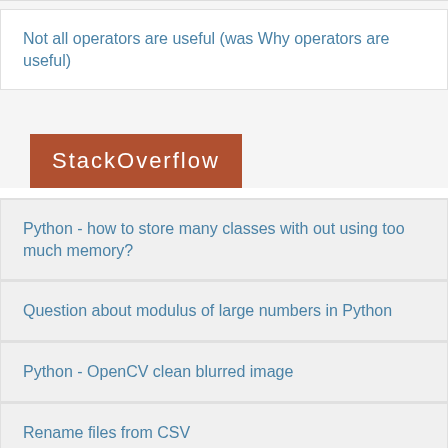Not all operators are useful (was Why operators are useful)
[Figure (logo): StackOverflow logo — brown/rust colored banner with white text reading 'StackOverflow']
Python - how to store many classes with out using too much memory?
Question about modulus of large numbers in Python
Python - OpenCV clean blurred image
Rename files from CSV
Reverse Tab in Python IDLE (3.7)